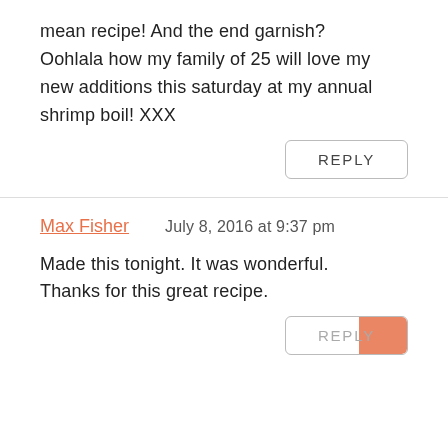mean recipe! And the end garnish? Oohlala how my family of 25 will love my new additions this saturday at my annual shrimp boil! XXX
REPLY
Max Fisher   July 8, 2016 at 9:37 pm
Made this tonight. It was wonderful. Thanks for this great recipe.
REPLY